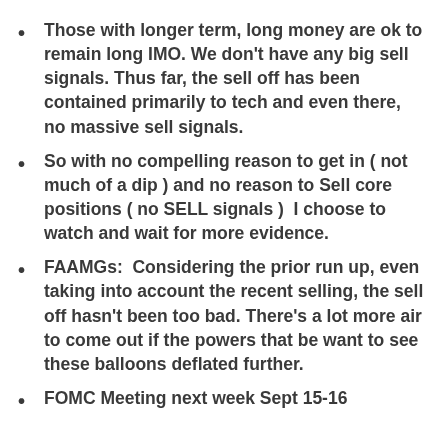Those with longer term, long money are ok to remain long IMO. We don't have any big sell signals. Thus far, the sell off has been contained primarily to tech and even there, no massive sell signals.
So with no compelling reason to get in ( not much of a dip ) and no reason to Sell core positions ( no SELL signals )  I choose to watch and wait for more evidence.
FAAMGs:  Considering the prior run up, even taking into account the recent selling, the sell off hasn't been too bad. There's a lot more air to come out if the powers that be want to see these balloons deflated further.
FOMC Meeting next week Sept 15-16